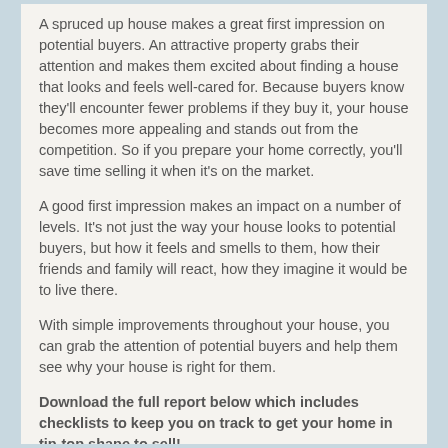A spruced up house makes a great first impression on potential buyers. An attractive property grabs their attention and makes them excited about finding a house that looks and feels well-cared for. Because buyers know they'll encounter fewer problems if they buy it, your house becomes more appealing and stands out from the competition. So if you prepare your home correctly, you'll save time selling it when it's on the market.
A good first impression makes an impact on a number of levels. It's not just the way your house looks to potential buyers, but how it feels and smells to them, how their friends and family will react, how they imagine it would be to live there.
With simple improvements throughout your house, you can grab the attention of potential buyers and help them see why your house is right for them.
Download the full report below which includes checklists to keep you on track to get your home in tip-top shape to sell!
Selling Your Home - Where Do you Begin? A spruced up house makes a great first impression on